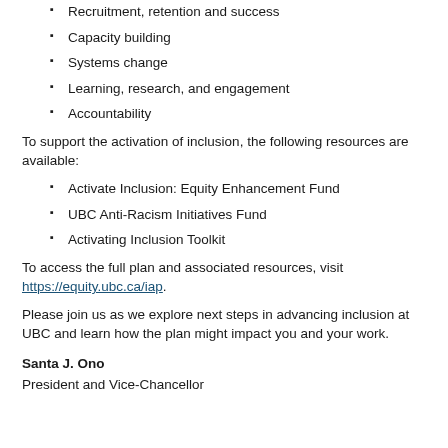Recruitment, retention and success
Capacity building
Systems change
Learning, research, and engagement
Accountability
To support the activation of inclusion, the following resources are available:
Activate Inclusion: Equity Enhancement Fund
UBC Anti-Racism Initiatives Fund
Activating Inclusion Toolkit
To access the full plan and associated resources, visit https://equity.ubc.ca/iap.
Please join us as we explore next steps in advancing inclusion at UBC and learn how the plan might impact you and your work.
Santa J. Ono
President and Vice-Chancellor